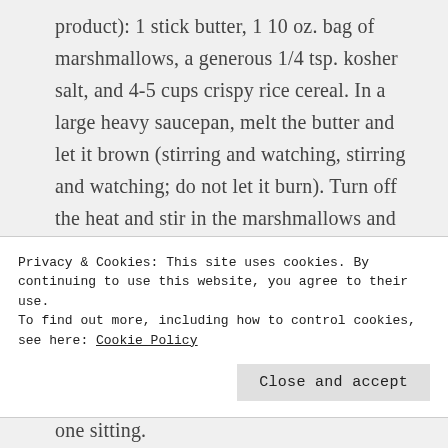product): 1 stick butter, 1 10 oz. bag of marshmallows, a generous 1/4 tsp. kosher salt, and 4-5 cups crispy rice cereal. In a large heavy saucepan, melt the butter and let it brown (stirring and watching, stirring and watching; do not let it burn). Turn off the heat and stir in the marshmallows and salt; stir until the marshmallows are melted then add the cereal and stir to combine (yes, I know you already know how to do this part). Turn the
Privacy & Cookies: This site uses cookies. By continuing to use this website, you agree to their use.
To find out more, including how to control cookies, see here: Cookie Policy
Close and accept
one sitting.